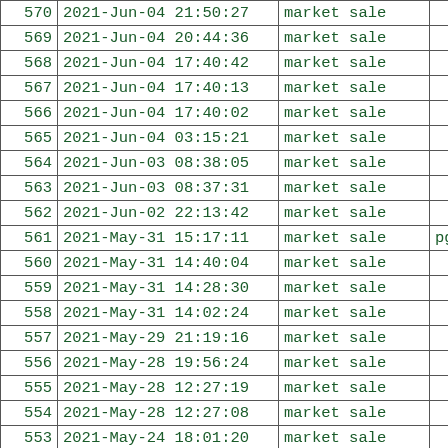| 570 | 2021-Jun-04 21:50:27 | market sale |  |
| 569 | 2021-Jun-04 20:44:36 | market sale |  |
| 568 | 2021-Jun-04 17:40:42 | market sale |  |
| 567 | 2021-Jun-04 17:40:13 | market sale |  |
| 566 | 2021-Jun-04 17:40:02 | market sale |  |
| 565 | 2021-Jun-04 03:15:21 | market sale |  |
| 564 | 2021-Jun-03 08:38:05 | market sale |  |
| 563 | 2021-Jun-03 08:37:31 | market sale |  |
| 562 | 2021-Jun-02 22:13:42 | market sale |  |
| 561 | 2021-May-31 15:17:11 | market sale | pgl.to.t |
| 560 | 2021-May-31 14:40:04 | market sale |  |
| 559 | 2021-May-31 14:28:30 | market sale |  |
| 558 | 2021-May-31 14:02:24 | market sale |  |
| 557 | 2021-May-29 21:19:16 | market sale |  |
| 556 | 2021-May-28 19:56:24 | market sale |  |
| 555 | 2021-May-28 12:27:19 | market sale |  |
| 554 | 2021-May-28 12:27:08 | market sale |  |
| 553 | 2021-May-24 18:01:20 | market sale |  |